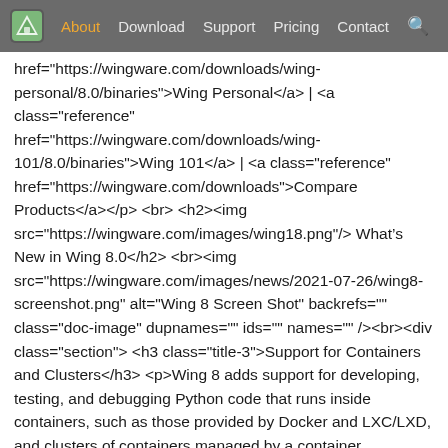About  Download  Support  Pricing  Contact
href="https://wingware.com/downloads/wing-personal/8.0/binaries">Wing Personal</a> | <a class="reference" href="https://wingware.com/downloads/wing-101/8.0/binaries">Wing 101</a> | <a class="reference" href="https://wingware.com/downloads">Compare Products</a></p> <br> <h2><img src="https://wingware.com/images/wing18.png"/> What's New in Wing 8.0</h2> <br><img src="https://wingware.com/images/news/2021-07-26/wing8-screenshot.png" alt="Wing 8 Screen Shot" backrefs="" class="doc-image" dupnames="" ids="" names="" /><br><div class="section"> <h3 class="title-3">Support for Containers and Clusters</h3> <p>Wing 8 adds support for developing, testing, and debugging Python code that runs inside containers, such as those provided by Docker and LXC/LXD, and clusters of containers managed by a container orchestration system like Docker Compose. A new <tt class="literal">